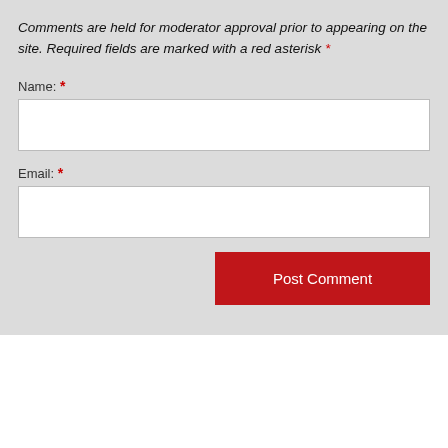Comments are held for moderator approval prior to appearing on the site. Required fields are marked with a red asterisk *
Name: *
Email: *
[Figure (screenshot): Post Comment button — red background, white text]